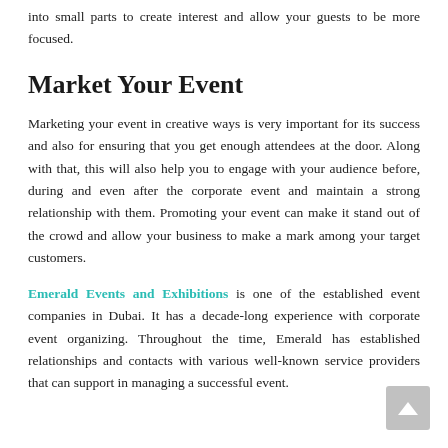into small parts to create interest and allow your guests to be more focused.
Market Your Event
Marketing your event in creative ways is very important for its success and also for ensuring that you get enough attendees at the door. Along with that, this will also help you to engage with your audience before, during and even after the corporate event and maintain a strong relationship with them. Promoting your event can make it stand out of the crowd and allow your business to make a mark among your target customers.
Emerald Events and Exhibitions is one of the established event companies in Dubai. It has a decade-long experience with corporate event organizing. Throughout the time, Emerald has established relationships and contacts with various well-known service providers that can support in managing a successful event.